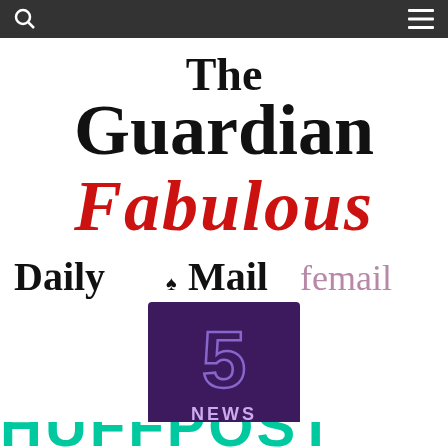[Figure (logo): Dark top navigation bar with search icon (magnifying glass) on left and hamburger menu icon on right]
[Figure (logo): The Guardian newspaper logo in large bold serif black text, two lines: 'The' and 'Guardian']
[Figure (logo): Fabulous magazine logo in large red italic script typeface]
[Figure (logo): Daily Mail femail logo: 'Daily Mail' in black blackletter/gothic serif font with small royal crest, followed by 'femail' in light pink serif font]
[Figure (logo): Channel 5 News logo: purple/dark square background with large stylized '5' numeral and 'NEWS' text below]
[Figure (logo): Partial bottom strip showing large teal/green bold text, partially cropped, appears to be another media brand logo]